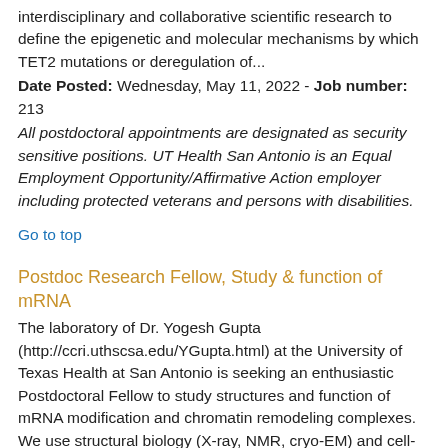interdisciplinary and collaborative scientific research to define the epigenetic and molecular mechanisms by which TET2 mutations or deregulation of...
Date Posted: Wednesday, May 11, 2022 - Job number: 213
All postdoctoral appointments are designated as security sensitive positions. UT Health San Antonio is an Equal Employment Opportunity/Affirmative Action employer including protected veterans and persons with disabilities.
Go to top
Postdoc Research Fellow, Study & function of mRNA
The laboratory of Dr. Yogesh Gupta (http://ccri.uthscsa.edu/YGupta.html) at the University of Texas Health at San Antonio is seeking an enthusiastic Postdoctoral Fellow to study structures and function of mRNA modification and chromatin remodeling complexes. We use structural biology (X-ray, NMR, cryo-EM) and cell-based methods to address basic mechanistic questions and use this knowledge to develop small molecule antagonists and antibody-based therapies. The laboratory provides a rich multi-disciplinary training environment and access to cutting-edge technologies in drug development